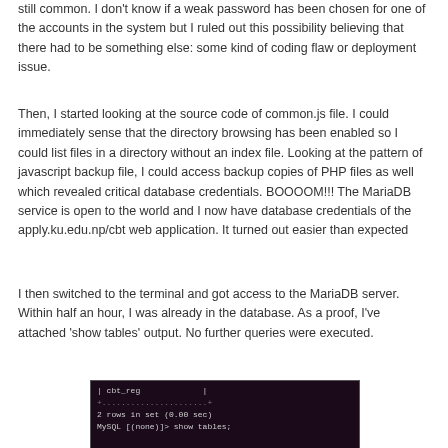still common. I don't know if a weak password has been chosen for one of the accounts in the system but I ruled out this possibility believing that there had to be something else: some kind of coding flaw or deployment issue.
Then, I started looking at the source code of common.js file. I could immediately sense that the directory browsing has been enabled so I could list files in a directory without an index file. Looking at the pattern of javascript backup file, I could access backup copies of PHP files as well which revealed critical database credentials. BOOOOM!!! The MariaDB service is open to the world and I now have database credentials of the apply.ku.edu.np/cbt web application. It turned out easier than expected
I then switched to the terminal and got access to the MariaDB server. Within half an hour, I was already in the database. As a proof, I've attached 'show tables' output. No further queries were executed.
[Figure (screenshot): Terminal screenshot showing MariaDB 'show tables' output with cbt_reg table listed, 2 rows in set (0.00 sec), and MySQL prompt]